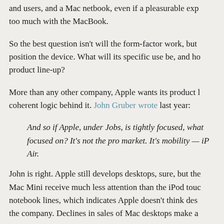and users, and a Mac netbook, even if a pleasurable exp too much with the MacBook.
So the best question isn't will the form-factor work, but position the device. What will its specific use be, and ho product line-up?
More than any other company, Apple wants its product l coherent logic behind it. John Gruber wrote last year:
And so if Apple, under Jobs, is tightly focused, what focused on? It's not the pro market. It's mobility — iP Air.
John is right. Apple still develops desktops, sure, but the Mac Mini receive much less attention than the iPod touc notebook lines, which indicates Apple doesn't think des the company. Declines in sales of Mac desktops make a